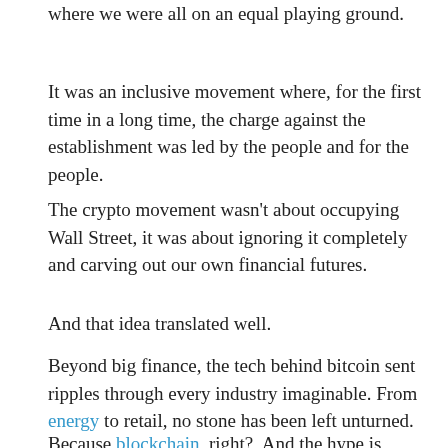where we were all on an equal playing ground.
It was an inclusive movement where, for the first time in a long time, the charge against the establishment was led by the people and for the people.
The crypto movement wasn't about occupying Wall Street, it was about ignoring it completely and carving out our own financial futures.
And that idea translated well.
Beyond big finance, the tech behind bitcoin sent ripples through every industry imaginable. From energy to retail, no stone has been left unturned.
Because blockchain, right?  And the hype is justified. It's